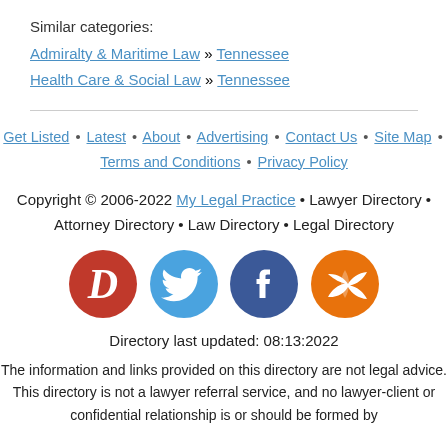Similar categories:
Admiralty & Maritime Law » Tennessee
Health Care & Social Law » Tennessee
Get Listed • Latest • About • Advertising • Contact Us • Site Map • Terms and Conditions • Privacy Policy
Copyright © 2006-2022 My Legal Practice • Lawyer Directory • Attorney Directory • Law Directory • Legal Directory
[Figure (infographic): Four social media icons: red D (directory), blue Twitter bird, dark blue Facebook f, orange RSS feed]
Directory last updated: 08:13:2022
The information and links provided on this directory are not legal advice. This directory is not a lawyer referral service, and no lawyer-client or confidential relationship is or should be formed by